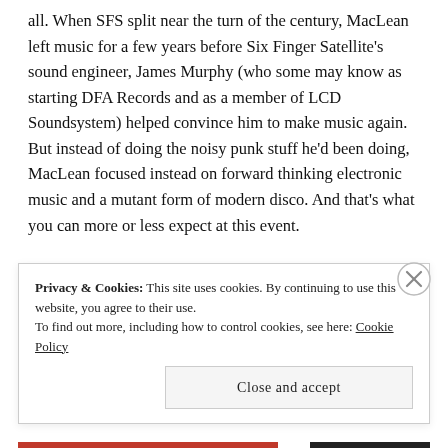all. When SFS split near the turn of the century, MacLean left music for a few years before Six Finger Satellite's sound engineer, James Murphy (who some may know as starting DFA Records and as a member of LCD Soundsystem) helped convince him to make music again. But instead of doing the noisy punk stuff he'd been doing, MacLean focused instead on forward thinking electronic music and a mutant form of modern disco. And that's what you can more or less expect at this event.
Privacy & Cookies: This site uses cookies. By continuing to use this website, you agree to their use. To find out more, including how to control cookies, see here: Cookie Policy
Close and accept